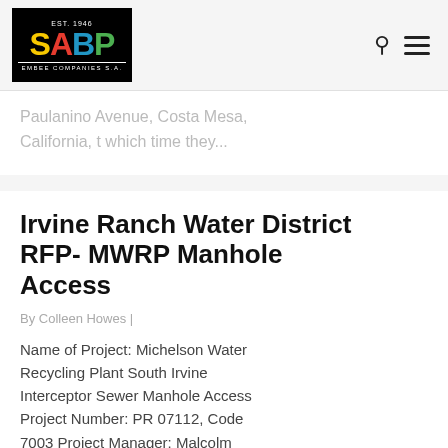[Figure (logo): SABP Embee Companies S.A. logo on black background with colorful letters]
Paulanino Avenue, Costa Mesa, California, t which time they...
Irvine Ranch Water District RFP- MWRP Manhole Access
By Colleen Howes |
Name of Project: Michelson Water Recycling Plant South Irvine Interceptor Sewer Manhole Access Project Number: PR 07112, Code 7003 Project Manager: Malcolm Cor... (949) 453-5854 Pro...